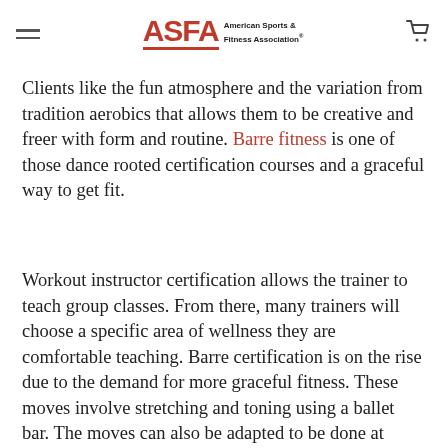ASFA American Sports & Fitness Association
health clubs for dance-related fitness, like Dance & Hip-hop Aerobics and Ballet Barre. Clients like the fun atmosphere and the variation from tradition aerobics that allows them to be creative and freer with form and routine. Barre fitness is one of those dance rooted certification courses and a graceful way to get fit.
Workout instructor certification allows the trainer to teach group classes. From there, many trainers will choose a specific area of wellness they are comfortable teaching. Barre certification is on the rise due to the demand for more graceful fitness. These moves involve stretching and toning using a ballet bar. The moves can also be adapted to be done at home or anywhere. Barre fitness increases strength, increases lean muscle growth,